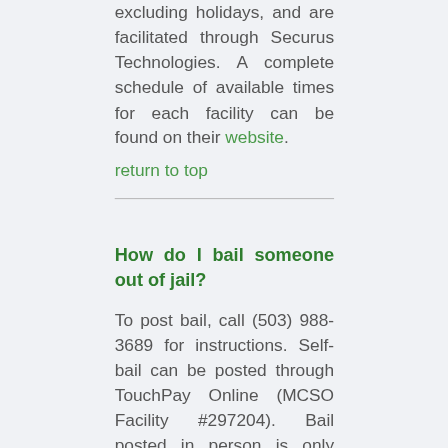excluding holidays, and are facilitated through Securus Technologies. A complete schedule of available times for each facility can be found on their website.
return to top
How do I bail someone out of jail?
To post bail, call (503) 988-3689 for instructions. Self-bail can be posted through TouchPay Online (MCSO Facility #297204). Bail posted in person is only available at